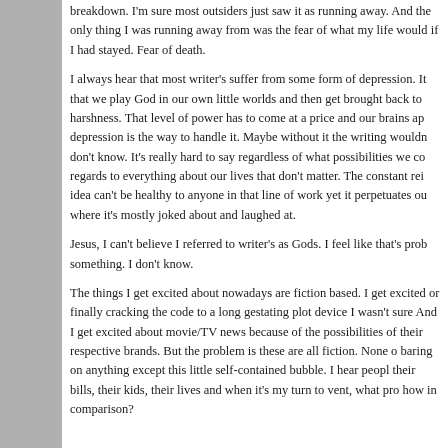breakdown. I'm sure most outsiders just saw it as running away. And the only thing I was running away from was the fear of what my life would if I had stayed. Fear of death.
I always hear that most writer's suffer from some form of depression. It that we play God in our own little worlds and then get brought back to harshness. That level of power has to come at a price and our brains ap depression is the way to handle it. Maybe without it the writing wouldn don't know. It's really hard to say regardless of what possibilities we co regards to everything about our lives that don't matter. The constant rei idea can't be healthy to anyone in that line of work yet it perpetuates ou where it's mostly joked about and laughed at.
Jesus, I can't believe I referred to writer's as Gods. I feel like that's prob something. I don't know.
The things I get excited about nowadays are fiction based. I get excited or finally cracking the code to a long gestating plot device I wasn't sure And I get excited about movie/TV news because of the possibilities of their respective brands. But the problem is these are all fiction. None o baring on anything except this little self-contained bubble. I hear peopl their bills, their kids, their lives and when it's my turn to vent, what pro how in comparison?